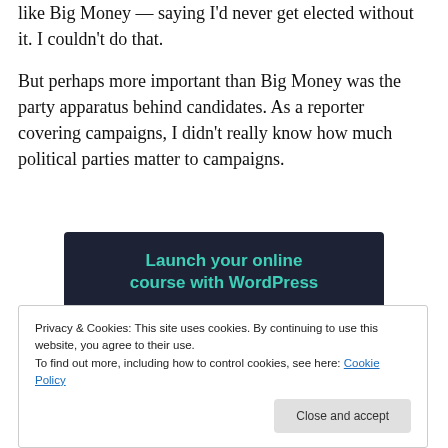like Big Money — saying I'd never get elected without it. I couldn't do that.
But perhaps more important than Big Money was the party apparatus behind candidates. As a reporter covering campaigns, I didn't really know how much political parties matter to campaigns.
[Figure (screenshot): Dark-themed advertisement banner: 'Launch your online course with WordPress' with a teal 'Learn More' button on a dark navy background.]
Privacy & Cookies: This site uses cookies. By continuing to use this website, you agree to their use.
To find out more, including how to control cookies, see here: Cookie Policy
Close and accept